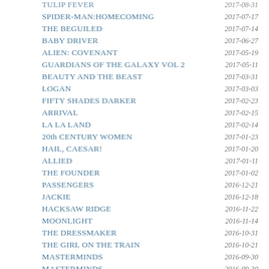TULIP FEVER | 2017-08-31
SPIDER-MAN:HOMECOMING | 2017-07-17
THE BEGUILED | 2017-07-14
BABY DRIVER | 2017-06-27
ALIEN: COVENANT | 2017-05-19
GUARDIANS OF THE GALAXY VOL 2 | 2017-05-11
BEAUTY AND THE BEAST | 2017-03-31
LOGAN | 2017-03-03
FIFTY SHADES DARKER | 2017-02-23
ARRIVAL | 2017-02-15
LA LA LAND | 2017-02-14
20th CENTURY WOMEN | 2017-01-23
HAIL, CAESAR! | 2017-01-20
ALLIED | 2017-01-11
THE FOUNDER | 2017-01-02
PASSENGERS | 2016-12-21
JACKIE | 2016-12-18
HACKSAW RIDGE | 2016-11-22
MOONLIGHT | 2016-11-14
THE DRESSMAKER | 2016-10-31
THE GIRL ON THE TRAIN | 2016-10-21
MASTERMINDS | 2016-09-30
MASTERMINDS | 2016-09-30
THE BFG | 2016-08-27
ALICE THROUGH THE LOOKING GLASS | 2016-06-05
BATMAN v SUPERMAN: Dawn of Justice | ...